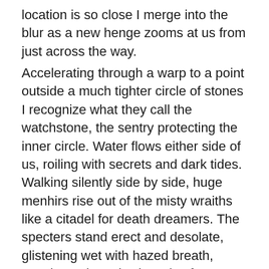location is so close I merge into the blur as a new henge zooms at us from just across the way.
Accelerating through a warp to a point outside a much tighter circle of stones I recognize what they call the watchstone, the sentry protecting the inner circle. Water flows either side of us, roiling with secrets and dark tides. Walking silently side by side, huge menhirs rise out of the misty wraiths like a citadel for death dreamers. The specters stand erect and desolate, glistening wet with hazed breath, wearing enigmatic shrouds of tenebrous fog.
Ewan wraps his arm around me, saying softly, “These are the standing stones of Stenness.”
“Stane-is?” I whisper back, looking at the looming monstrosities.
“It comes from the Norse words meaning stone headland.